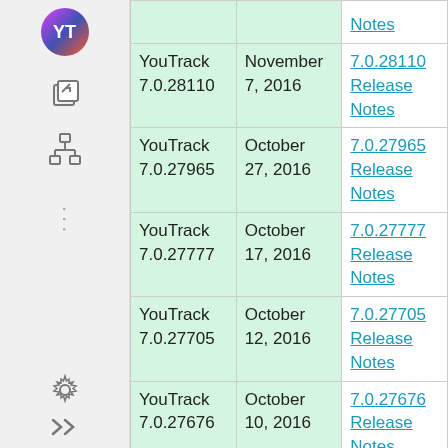| Version | Date | Release Notes |
| --- | --- | --- |
| YouTrack 7.0.28110 | November 7, 2016 | 7.0.28110 Release Notes |
| YouTrack 7.0.27965 | October 27, 2016 | 7.0.27965 Release Notes |
| YouTrack 7.0.27777 | October 17, 2016 | 7.0.27777 Release Notes |
| YouTrack 7.0.27705 | October 12, 2016 | 7.0.27705 Release Notes |
| YouTrack 7.0.27676 | October 10, 2016 | 7.0.27676 Release Notes |